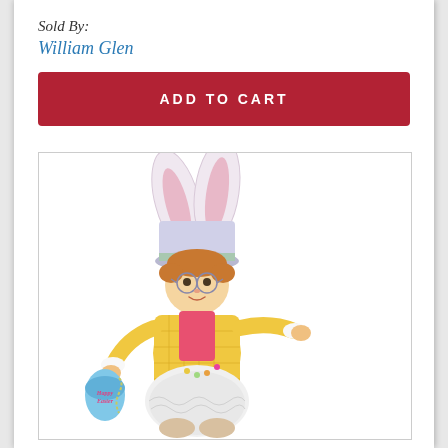Sold By:
William Glen
ADD TO CART
[Figure (illustration): An illustrated Easter bunny character figure — a cheerful elfin person wearing a yellow checkered jacket, pink bow/sash, white fluffy bunny-style bloomers, a tall hat with bunny ears, holding a 'Happy Easter' decorated egg and extending one arm outward. The figure is colorful and festive, shown on a white background.]